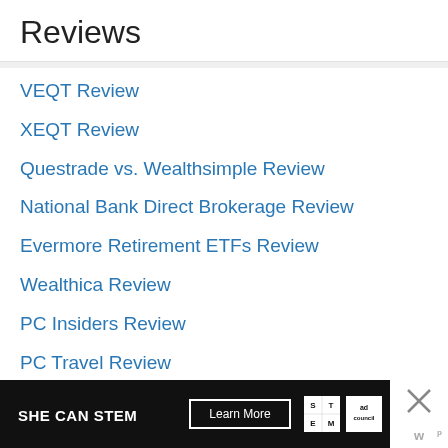Reviews
VEQT Review
XEQT Review
Questrade vs. Wealthsimple Review
National Bank Direct Brokerage Review
Evermore Retirement ETFs Review
Wealthica Review
PC Insiders Review
PC Travel Review
Ca…
[Figure (other): Advertisement banner: SHE CAN STEM with Learn More button, STEM badge, Ad Council logo, and close button]